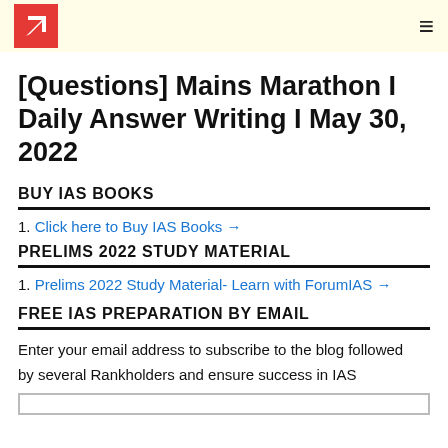[logo and navigation bar]
[Questions] Mains Marathon I Daily Answer Writing I May 30, 2022
BUY IAS BOOKS
1. Click here to Buy IAS Books →
PRELIMS 2022 STUDY MATERIAL
1. Prelims 2022 Study Material- Learn with ForumIAS →
FREE IAS PREPARATION BY EMAIL
Enter your email address to subscribe to the blog followed by several Rankholders and ensure success in IAS